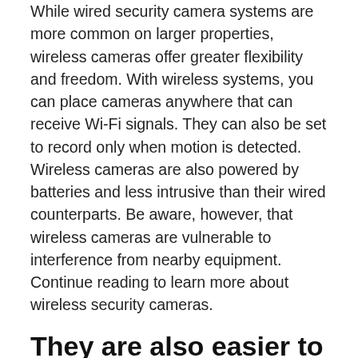While wired security camera systems are more common on larger properties, wireless cameras offer greater flexibility and freedom. With wireless systems, you can place cameras anywhere that can receive Wi-Fi signals. They can also be set to record only when motion is detected. Wireless cameras are also powered by batteries and less intrusive than their wired counterparts. Be aware, however, that wireless cameras are vulnerable to interference from nearby equipment. Continue reading to learn more about wireless security cameras.
They are also easier to put in
Wireless WiFi cameras can be installed much faster than traditional CCTV. These cameras are more flexible in their placement and can be used for indoor applications that are smaller. For outdoor applications, wired PoE cameras are better as they offer greater stability and management. A standalone outdoor WiFi camera is also